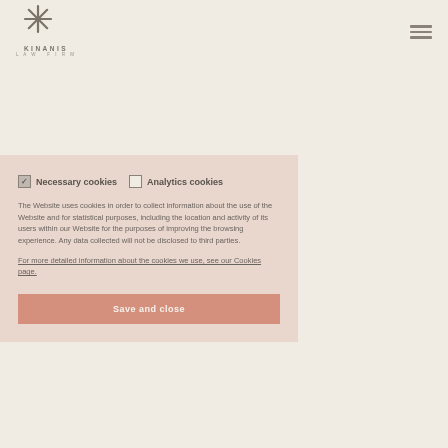[Figure (logo): Kinanis Law Firm logo with stylized asterisk/star icon above the text KINANIS LAW FIRM]
[Figure (other): Hamburger menu icon (three horizontal lines) in top right corner]
Necessary cookies  Analytics cookies
The Website uses cookies in order to collect information about the use of the Website and for statistical purposes, including the location and activity of its users within our Website for the purposes of improving the browsing experience. Any data collected will not be disclosed to third parties.
For more detailed information about the cookies we use, see our Cookies page.
Save and close